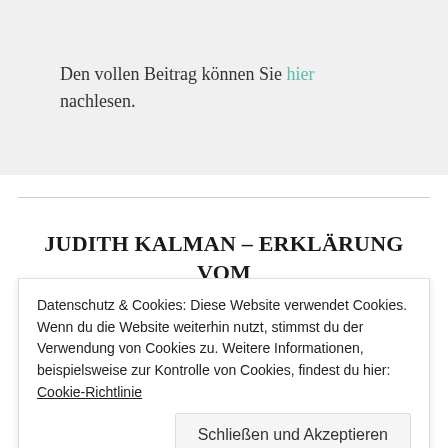Den vollen Beitrag können Sie hier nachlesen.
JUDITH KALMAN – ERKLÄRUNG VOM 29.4.2015
30. JUNI 2015 / ANDREJ UMANSKY
Datenschutz & Cookies: Diese Website verwendet Cookies. Wenn du die Website weiterhin nutzt, stimmst du der Verwendung von Cookies zu. Weitere Informationen, beispielsweise zur Kontrolle von Cookies, findest du hier: Cookie-Richtlinie
Schließen und Akzeptieren